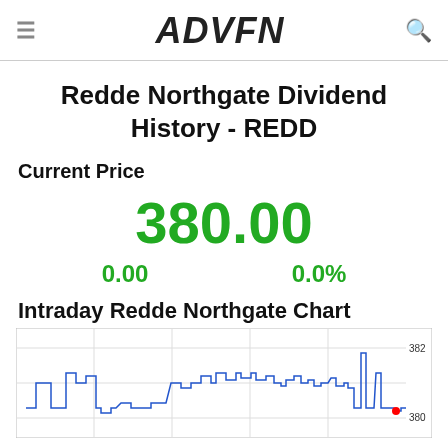ADVFN
Redde Northgate Dividend History - REDD
Current Price
380.00
0.00
0.0%
Intraday Redde Northgate Chart
[Figure (continuous-plot): Intraday price chart for Redde Northgate (REDD) showing price fluctuations around 380-382, with a blue step line and a red dot near the end on the right side. Y-axis shows 382 at top and 380 near bottom.]